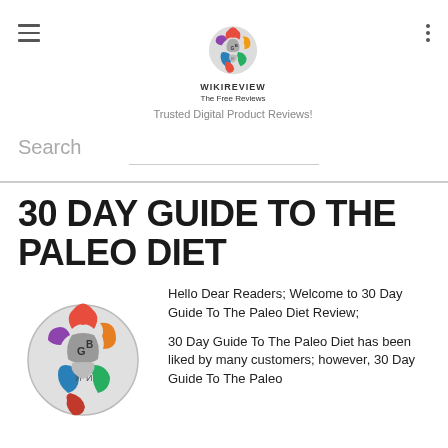WIKIREVIEW The Free Reviews — Trusted Digital Product Reviews!
Search
30 DAY GUIDE TO THE PALEO DIET
[Figure (logo): Wikipedia-style colorful puzzle globe logo]
Hello Dear Readers; Welcome to 30 Day Guide To The Paleo Diet Review;

30 Day Guide To The Paleo Diet has been liked by many customers; however, 30 Day Guide To The Paleo